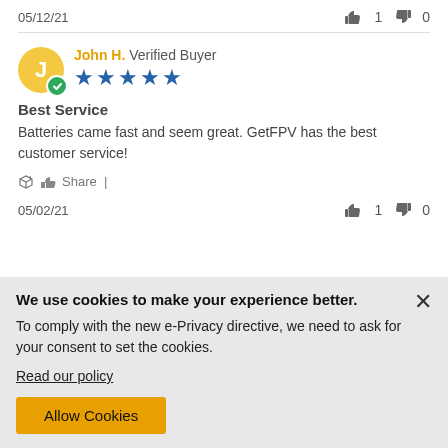05/12/21  👍 1  👎 0
John H. Verified Buyer ★★★★★
Best Service
Batteries came fast and seem great. GetFPV has the best customer service!
Share |
05/02/21  👍 1  👎 0
We use cookies to make your experience better. To comply with the new e-Privacy directive, we need to ask for your consent to set the cookies. Read our policy
Allow Cookies